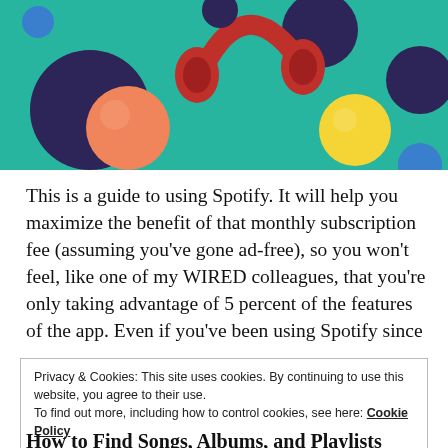[Figure (illustration): Colorful floating 3D balls and red headphones on a teal/green background. Objects include an orange sphere, dark purple/navy spheres, red headphones, a yellow sphere, and a blue sphere.]
This is a guide to using Spotify. It will help you maximize the benefit of that monthly subscription fee (assuming you've gone ad-free), so you won't feel, like one of my WIRED colleagues, that you're only taking advantage of 5 percent of the features of the app. Even if you've been using Spotify since
Privacy & Cookies: This site uses cookies. By continuing to use this website, you agree to their use.
To find out more, including how to control cookies, see here: Cookie Policy
Close and accept
How to Find Songs, Albums, and Playlists